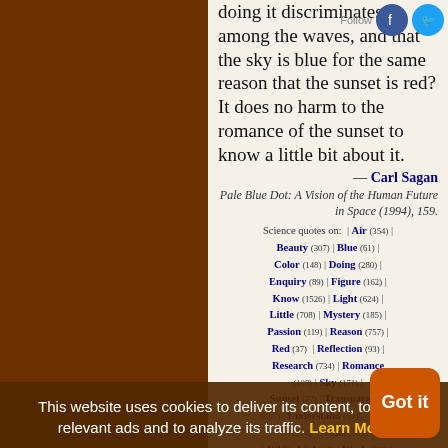doing it discriminates among the waves, and that the sky is blue for the same reason that the sunset is red? It does no harm to the romance of the sunset to know a little bit about it.
— Carl Sagan
Pale Blue Dot: A Vision of the Human Future in Space (1994), 159.
Science quotes on: | Air (354) | Beauty (307) | Blue (61) | Color (148) | Doing (280) | Enquiry (89) | Figure (162) | Know (1526) | Light (624) | Little (708) | Mystery (185) | Passion (119) | Reason (757) | Red (37) | Reflection (93) | Research (734) | Romance | Sky (171) | Sunset (27) | Transparency | Understand (634) | Wave (107) | White (129) | White Light (5) | Work (1374) | World (1822)
This website uses cookies to deliver its content, to show relevant ads and to analyze its traffic. Learn More